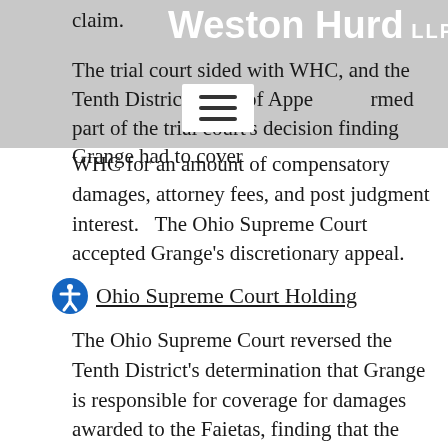claim.
[Figure (logo): Weston Hurd LLP law firm logo in white text on gray background]
The trial court sided with WHC, and the Tenth District Court of Appe[a]rmed part of the trial court's decision finding Grange had to cover WHC for an amount of compensatory damages, attorney fees, and post judgment interest.   The Ohio Supreme Court accepted Grange's discretionary appeal.
Ohio Supreme Court Holding
The Ohio Supreme Court reversed the Tenth District's determination that Grange is responsible for coverage for damages awarded to the Faietas, finding that the language of Grange's abuse exclusion bars coverage for an award of damages based on WHC's vicarious liability arising from Vaughan's abuse of the child while in WHC's care and custody.